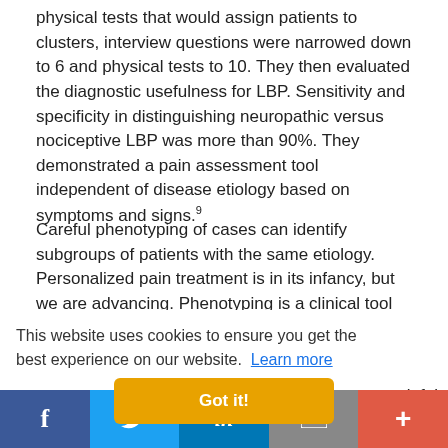physical tests that would assign patients to clusters, interview questions were narrowed down to 6 and physical tests to 10. They then evaluated the diagnostic usefulness for LBP. Sensitivity and specificity in distinguishing neuropathic versus nociceptive LBP was more than 90%. They demonstrated a pain assessment tool independent of disease etiology based on symptoms and signs.⁹
Careful phenotyping of cases can identify subgroups of patients with the same etiology. Personalized pain treatment is in its infancy, but we are advancing. Phenotyping is a clinical tool that can identify underlying [ized / we painful hat is
This website uses cookies to ensure you get the best experience on our website. Learn more
Got it!